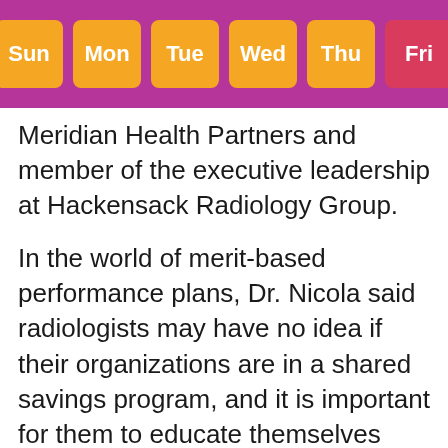Sun | Mon | Tue | Wed | Thu | Fri
Meridian Health Partners and member of the executive leadership at Hackensack Radiology Group.
In the world of merit-based performance plans, Dr. Nicola said radiologists may have no idea if their organizations are in a shared savings program, and it is important for them to educate themselves and seek leadership positions so they can fight for payments that are theirs.
"We have to be really proactive in making sure we're striving toward quality and value goals to reduce long-term costs," Dr. Nicola